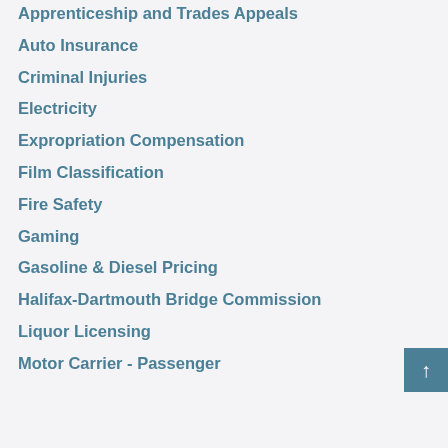Apprenticeship and Trades Appeals
Auto Insurance
Criminal Injuries
Electricity
Expropriation Compensation
Film Classification
Fire Safety
Gaming
Gasoline & Diesel Pricing
Halifax-Dartmouth Bridge Commission
Liquor Licensing
Motor Carrier - Passenger